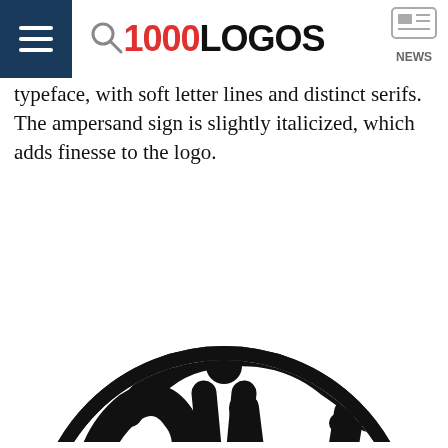1000LOGOS NEWS
typeface, with soft letter lines and distinct serifs. The ampersand sign is slightly italicized, which adds finesse to the logo.
[Figure (logo): Smith & Wesson circular monogram logo in black and white, featuring ornate intertwined S&W letters with decorative diamond star shapes inside a circle border]